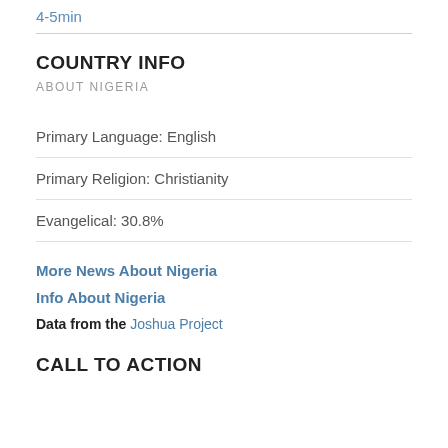4-5min
COUNTRY INFO
ABOUT NIGERIA
Primary Language: English
Primary Religion: Christianity
Evangelical: 30.8%
More News About Nigeria
Info About Nigeria
Data from the Joshua Project
CALL TO ACTION